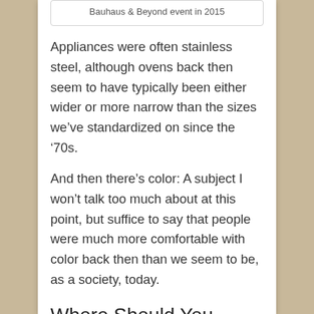Bauhaus & Beyond event in 2015
Appliances were often stainless steel, although ovens back then seem to have typically been either wider or more narrow than the sizes we've standardized on since the '70s.
And then there's color: A subject I won't talk too much about at this point, but suffice to say that people were much more comfortable with color back then than we seem to be, as a society, today.
Where Should You Start?